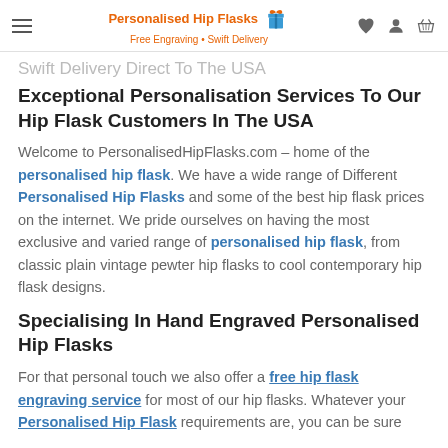Personalised Hip Flasks – Free Engraving • Swift Delivery
Exceptional Personalisation Services To Our Hip Flask Customers In The USA
Welcome to PersonalisedHipFlasks.com – home of the personalised hip flask. We have a wide range of Different Personalised Hip Flasks and some of the best hip flask prices on the internet. We pride ourselves on having the most exclusive and varied range of personalised hip flask, from classic plain vintage pewter hip flasks to cool contemporary hip flask designs.
Specialising In Hand Engraved Personalised Hip Flasks
For that personal touch we also offer a free hip flask engraving service for most of our hip flasks. Whatever your Personalised Hip Flask requirements are, you can be sure